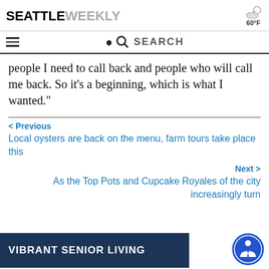SEATTLE WEEKLY | 60°F
people I need to call back and people who will call me back. So it’s a beginning, which is what I wanted.”
< Previous
Local oysters are back on the menu, farm tours take place this
Next >
As the Top Pots and Cupcake Royales of the city increasingly turn
[Figure (other): VIBRANT SENIOR LIVING advertisement banner with blue background and white text, plus accessibility icon button]